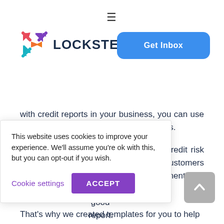☰
[Figure (logo): Lockstep logo with colorful X mark and bold dark blue LOCKSTEP text with registered trademark symbol]
Get Inbox
with credit reports in your business, you can use the relationship in your collections efforts.
A major way you can lower business credit risk is by sending notice letters to all your customers that you are actively reporting their payment [history. Customers who pay] it well with [you will have a] good [mark on their credit] report. [This can lower your busine]ss credit risk [and you can use it] to incentivize
This website uses cookies to improve your experience. We'll assume you're ok with this, but you can opt-out if you wish.
Cookie settings
ACCEPT
That's why we created templates for you to help